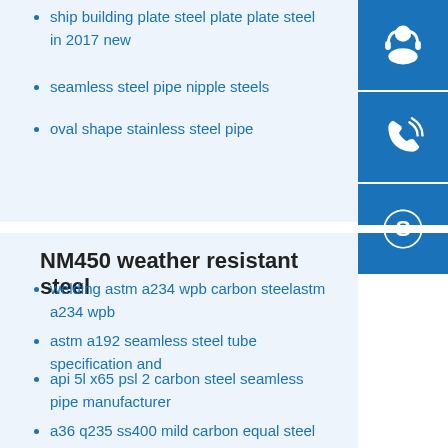ship building plate steel plate plate steel in 2017 new
seamless steel pipe nipple steels
oval shape stainless steel pipe
[Figure (illustration): Blue square icon with white headset/customer support symbol]
[Figure (illustration): Blue square icon with white phone/call symbol]
[Figure (illustration): Blue square icon with white Skype logo symbol]
NM450 weather resistant steel
welding astm a234 wpb carbon steelastm a234 wpb
astm a192 seamless steel tube specification and
api 5l x65 psl 2 carbon steel seamless pipe manufacturer
a36 q235 ss400 mild carbon equal steel angle bar